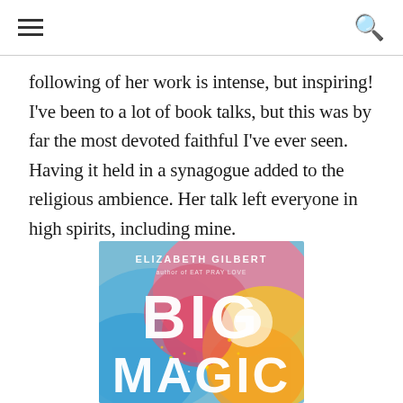≡  🔍
following of her work is intense, but inspiring! I've been to a lot of book talks, but this was by far the most devoted faithful I've ever seen. Having it held in a synagogue added to the religious ambience. Her talk left everyone in high spirits, including mine.
[Figure (photo): Book cover of 'Big Magic' by Elizabeth Gilbert, showing colorful watercolor background in blues, pinks, reds, and yellows with the title 'BIG MAGIC' in large white letters and the author name 'ELIZABETH GILBERT' at the top.]